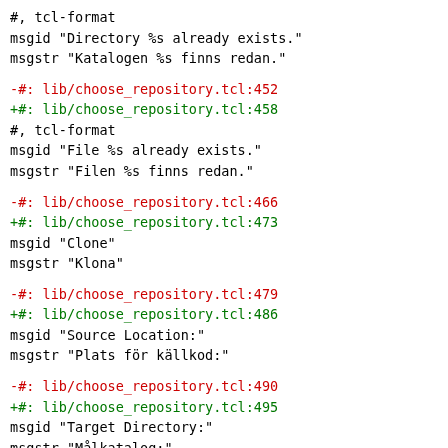#, tcl-format
msgid "Directory %s already exists."
msgstr "Katalogen %s finns redan."
-#: lib/choose_repository.tcl:452
+#: lib/choose_repository.tcl:458
#, tcl-format
msgid "File %s already exists."
msgstr "Filen %s finns redan."
-#: lib/choose_repository.tcl:466
+#: lib/choose_repository.tcl:473
msgid "Clone"
msgstr "Klona"
-#: lib/choose_repository.tcl:479
+#: lib/choose_repository.tcl:486
msgid "Source Location:"
msgstr "Plats för källkod:"
-#: lib/choose_repository.tcl:490
+#: lib/choose_repository.tcl:495
msgid "Target Directory:"
msgstr "Målkatalog:"
-#: lib/choose_repository.tcl:502
+#: lib/choose_repository.tcl:505
msgid "Clone Type:"
msgstr "Typ av klon:"